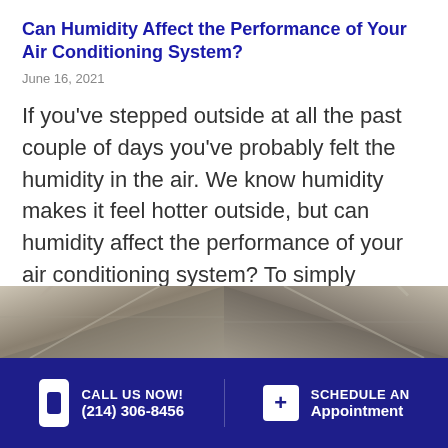Can Humidity Affect the Performance of Your Air Conditioning System?
June 16, 2021
If you've stepped outside at all the past couple of days you've probably felt the humidity in the air. We know humidity makes it feel hotter outside, but can humidity affect the performance of your air conditioning system? To simply answer the question, yes. Elevated…
[Figure (photo): Two photos side by side showing metallic air conditioning duct corners]
CALL US NOW! (214) 306-8456  SCHEDULE AN Appointment